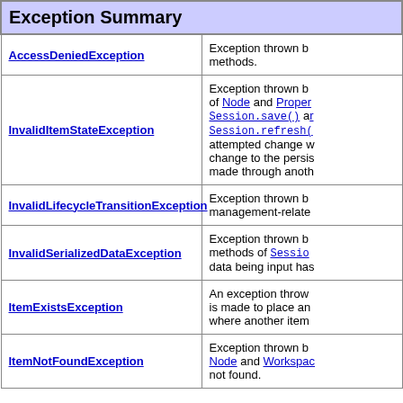| Exception Summary |  |
| --- | --- |
| AccessDeniedException | Exception thrown b... methods. |
| InvalidItemStateException | Exception thrown b... of Node and Proper... Session.save() a... Session.refresh(... attempted change w... change to the persis... made through anoth... |
| InvalidLifecycleTransitionException | Exception thrown b... management-relate... |
| InvalidSerializedDataException | Exception thrown b... methods of Sessio... data being input has... |
| ItemExistsException | An exception throw... is made to place an... where another item... |
| ItemNotFoundException | Exception thrown b... Node and Workspac... not found. |